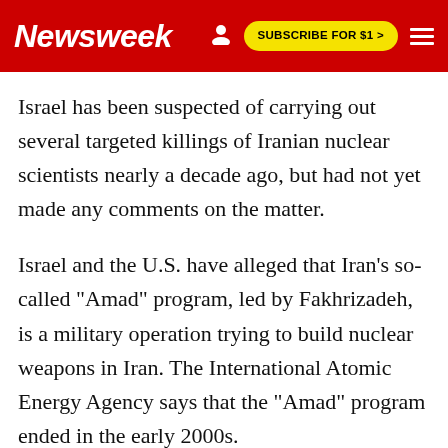Newsweek | SUBSCRIBE FOR $1 >
Israel has been suspected of carrying out several targeted killings of Iranian nuclear scientists nearly a decade ago, but had not yet made any comments on the matter.
Israel and the U.S. have alleged that Iran's so-called "Amad" program, led by Fakhrizadeh, is a military operation trying to build nuclear weapons in Iran. The International Atomic Energy Agency says that the "Amad" program ended in the early 2000s.